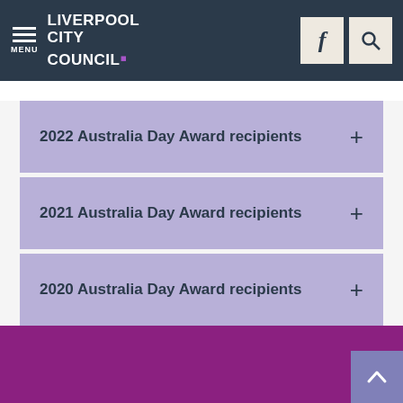LIVERPOOL CITY COUNCIL
2022 Australia Day Award recipients
2021 Australia Day Award recipients
2020 Australia Day Award recipients
[Figure (other): Purple decorative footer banner at the bottom of the page with a scroll-to-top arrow button in the lower right corner]